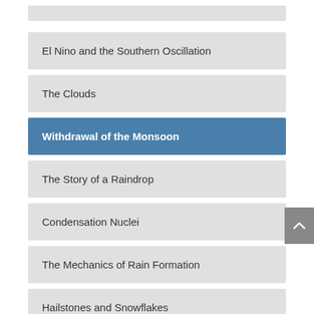El Nino and the Southern Oscillation
The Clouds
Withdrawal of the Monsoon
The Story of a Raindrop
Condensation Nuclei
The Mechanics of Rain Formation
Hailstones and Snowflakes